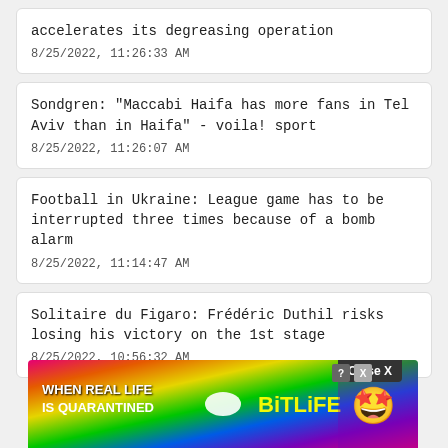accelerates its degreasing operation
8/25/2022, 11:26:33 AM
Sondgren: "Maccabi Haifa has more fans in Tel Aviv than in Haifa" - voila! sport
8/25/2022, 11:26:07 AM
Football in Ukraine: League game has to be interrupted three times because of a bomb alarm
8/25/2022, 11:14:47 AM
Solitaire du Figaro: Frédéric Duthil risks losing his victory on the 1st stage
8/25/2022, 10:56:32 AM
[Figure (screenshot): Banner advertisement for BitLife game with rainbow background, text 'WHEN REAL LIFE IS QUARANTINED' on left, BitLife logo in center, emoji character on right. Close X button overlaid at top right.]